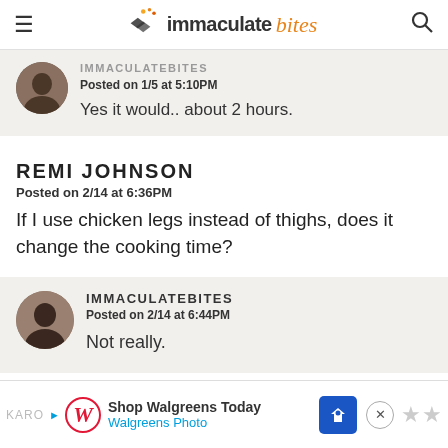immaculate bites
Posted on 1/5 at 5:10PM
Yes it would.. about 2 hours.
REMI JOHNSON
Posted on 2/14 at 6:36PM
If I use chicken legs instead of thighs, does it change the cooking time?
IMMACULATEBITES
Posted on 2/14 at 6:44PM
Not really.
Shop Walgreens Today | Walgreens Photo